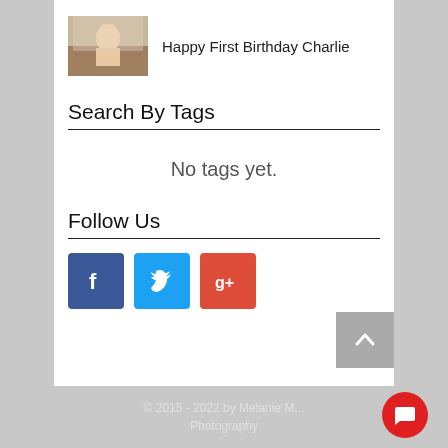[Figure (photo): Thumbnail photo of a baby at a birthday setting]
Happy First Birthday Charlie
Search By Tags
No tags yet.
Follow Us
[Figure (logo): Facebook, Twitter, and Google+ social media icons]
© 2015 - 2022 by Melanie M... Photography